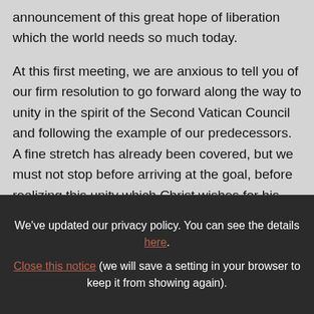announcement of this great hope of liberation which the world needs so much today.
At this first meeting, we are anxious to tell you of our firm resolution to go forward along the way to unity in the spirit of the Second Vatican Council and following the example of our predecessors. A fine stretch has already been covered, but we must not stop before arriving at the goal, before realizing this unity which Christ wishes for his Church and for which he
We've updated our privacy policy. You can see the details here. Close this notice (we will save a setting in your browser to keep it from showing again).